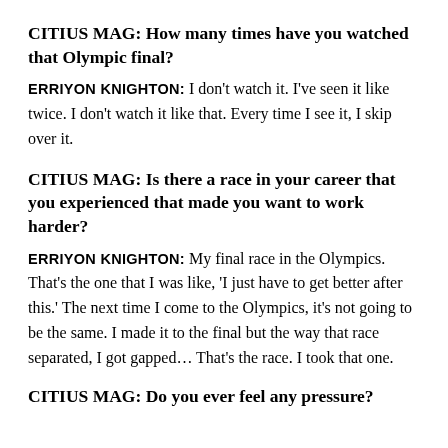CITIUS MAG: How many times have you watched that Olympic final?
ERRIYON KNIGHTON: I don't watch it. I've seen it like twice. I don't watch it like that. Every time I see it, I skip over it.
CITIUS MAG: Is there a race in your career that you experienced that made you want to work harder?
ERRIYON KNIGHTON: My final race in the Olympics. That's the one that I was like, 'I just have to get better after this.' The next time I come to the Olympics, it's not going to be the same. I made it to the final but the way that race separated, I got gapped... That's the race. I took that one.
CITIUS MAG: Do you ever feel any pressure?